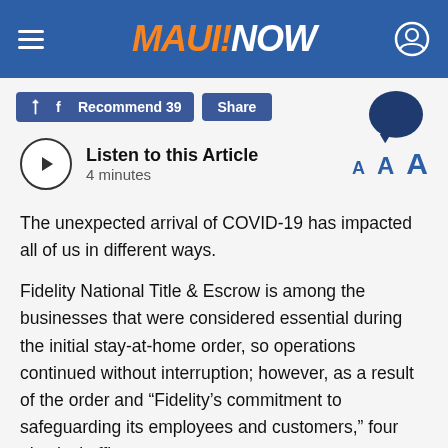MAUI NOW
Recommend 39   Share
Listen to this Article
4 minutes
The unexpected arrival of COVID-19 has impacted all of us in different ways.
Fidelity National Title & Escrow is among the businesses that were considered essential during the initial stay-at-home order, so operations continued without interruption; however, as a result of the order and “Fidelity’s commitment to safeguarding its employees and customers,” four physical offices were